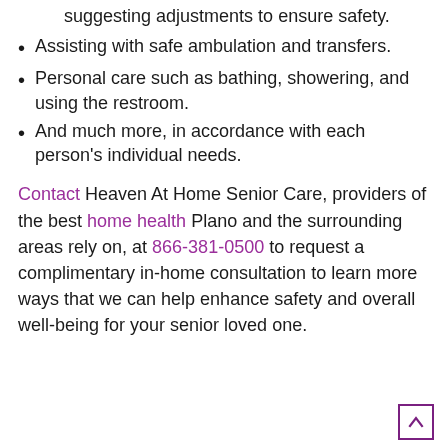suggesting adjustments to ensure safety.
Assisting with safe ambulation and transfers.
Personal care such as bathing, showering, and using the restroom.
And much more, in accordance with each person's individual needs.
Contact Heaven At Home Senior Care, providers of the best home health Plano and the surrounding areas rely on, at 866-381-0500 to request a complimentary in-home consultation to learn more ways that we can help enhance safety and overall well-being for your senior loved one.